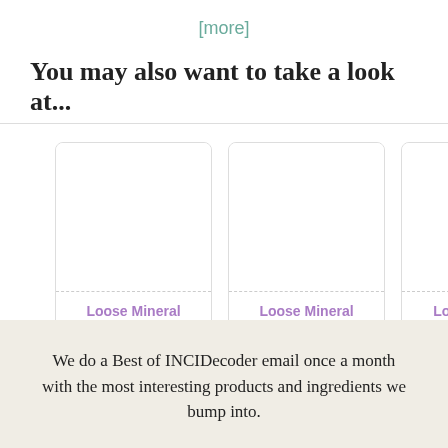[more]
You may also want to take a look at...
[Figure (other): Product card: Loose Mineral Foundation by PHB Ethical Beauty — white card with dashed border separator, purple title text, bold brand name]
[Figure (other): Product card: Loose Mineral Foundation by Mineralogie — white card with dashed border separator, purple title text, bold brand name]
[Figure (other): Partial product card: Loose Mineral Foundation (partially visible, cropped at page edge)]
We do a Best of INCIDecoder email once a month with the most interesting products and ingredients we bump into.